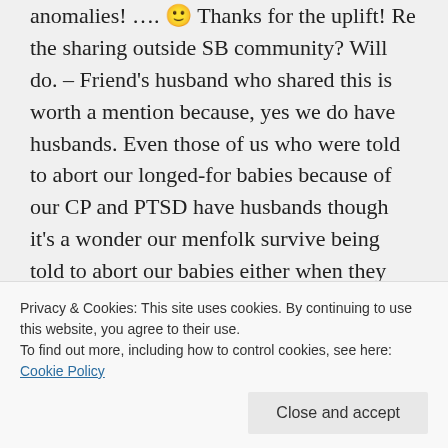anomalies! .... 🙂 Thanks for the uplift! Re the sharing outside SB community? Will do. – Friend's husband who shared this is worth a mention because, yes we do have husbands. Even those of us who were told to abort our longed-for babies because of our CP and PTSD have husbands though it's a wonder our menfolk survive being told to abort our babies either when they have to assimilate the sheer prejudice all in one hit in a doctors surgery – he's still here
Privacy & Cookies: This site uses cookies. By continuing to use this website, you agree to their use. To find out more, including how to control cookies, see here: Cookie Policy
Close and accept